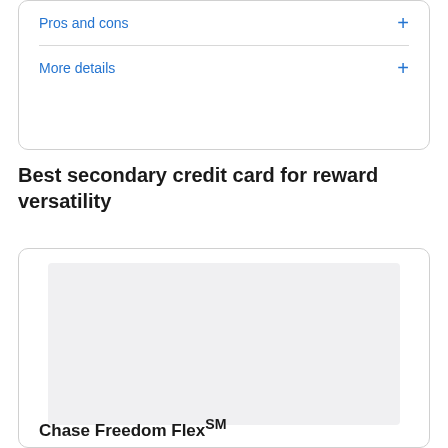Pros and cons
More details
Best secondary credit card for reward versatility
[Figure (other): Credit card image placeholder (gray rectangle)]
Chase Freedom Flex℠